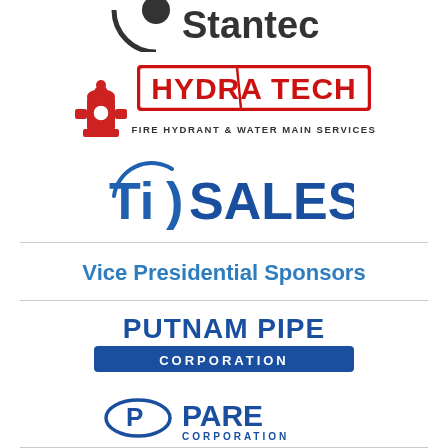[Figure (logo): Stantec logo - partial view at top]
[Figure (logo): Hydra Tech Fire Hydrant & Water Main Services logo with red fire hydrant icon]
[Figure (logo): Ti Sales logo in blue with arc graphic]
Vice Presidential Sponsors
[Figure (logo): Putnam Pipe Corporation logo in blue]
[Figure (logo): Pare Corporation logo with blue ellipse and P icon]